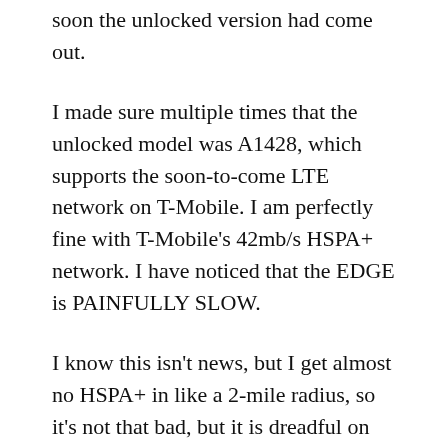soon the unlocked version had come out.
I made sure multiple times that the unlocked model was A1428, which supports the soon-to-come LTE network on T-Mobile. I am perfectly fine with T-Mobile's 42mb/s HSPA+ network. I have noticed that the EDGE is PAINFULLY SLOW.
I know this isn't news, but I get almost no HSPA+ in like a 2-mile radius, so it's not that bad, but it is dreadful on EDGE. I should say that I am on T-Mobile's prepaid $30, 100 mins, unlimited data and texting plan.
The HSPA+, when you get it is very fast. I get 8